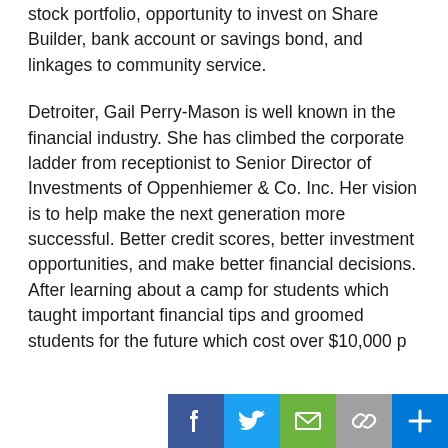stock portfolio, opportunity to invest on Share Builder, bank account or savings bond, and linkages to community service.
Detroiter, Gail Perry-Mason is well known in the financial industry. She has climbed the corporate ladder from receptionist to Senior Director of Investments of Oppenhiemer & Co. Inc. Her vision is to help make the next generation more successful. Better credit scores, better investment opportunities, and make better financial decisions. After learning about a camp for students which taught important financial tips and groomed students for the future which cost over $10,000 per...